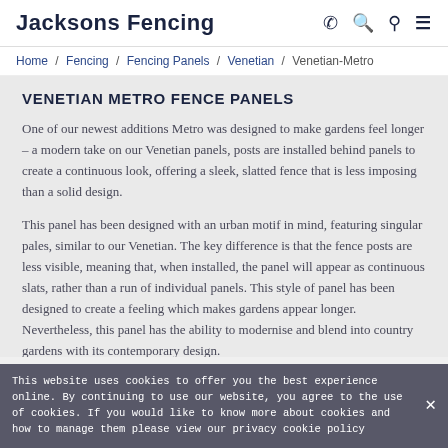Jacksons Fencing
Home / Fencing / Fencing Panels / Venetian / Venetian-Metro
VENETIAN METRO FENCE PANELS
One of our newest additions Metro was designed to make gardens feel longer – a modern take on our Venetian panels, posts are installed behind panels to create a continuous look, offering a sleek, slatted fence that is less imposing than a solid design.
This panel has been designed with an urban motif in mind, featuring singular pales, similar to our Venetian. The key difference is that the fence posts are less visible, meaning that, when installed, the panel will appear as continuous slats, rather than a run of individual panels. This style of panel has been designed to create a feeling which makes gardens appear longer. Nevertheless, this panel has the ability to modernise and blend into country gardens with its contemporary design.
This website uses cookies to offer you the best experience online. By continuing to use our website, you agree to the use of cookies. If you would like to know more about cookies and how to manage them please view our privacy cookie policy